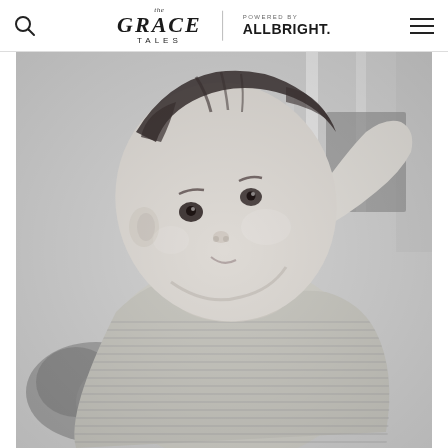The Grace Tales — Powered by ALLBRIGHT.
[Figure (photo): Black and white photograph of a young baby/toddler wearing a striped onesie, looking upward with head tilted back. Background shows what appears to be a crib or furniture. The image is taken in portrait orientation.]